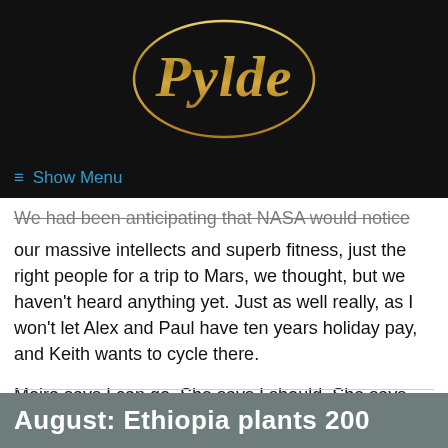[Figure (logo): Pylde script logo in gold on black background, oval border]
≡ Show Menu
We had been anticipating that NASA would notice our massive intellects and superb fitness, just the right people for a trip to Mars, we thought, but we haven't heard anything yet. Just as well really, as I won't let Alex and Paul have ten years holiday pay, and Keith wants to cycle there.
Moira says I can go. She says I should. She says she'll wait for me.
August: Ethiopia plants 200